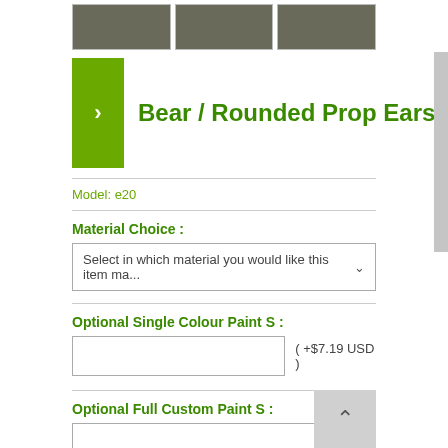[Figure (photo): Three thumbnail images of bear/rounded prop ears in gray/white tones on dark green background]
[Figure (photo): Green thumbnail/navigation button with right chevron arrow]
Bear / Rounded Prop Ears
Model: e20
Material Choice :
Select in which material you would like this item ma...
Optional Single Colour Paint S :
( +$7.19 USD )
Optional Full Custom Paint S :